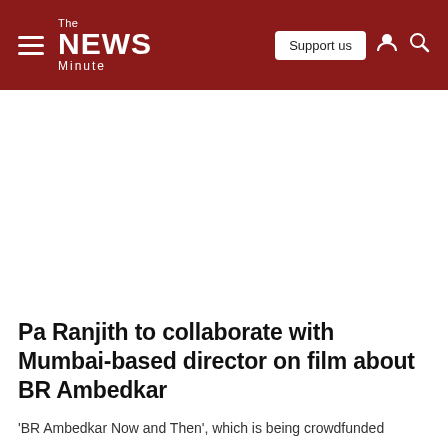The News Minute — Support us
Pa Ranjith to collaborate with Mumbai-based director on film about BR Ambedkar
'BR Ambedkar Now and Then', which is being crowdfunded